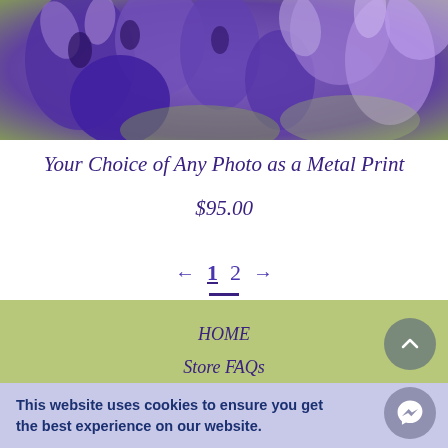[Figure (photo): Close-up photo of purple/violet bluebell flowers with green background]
Your Choice of Any Photo as a Metal Print
$95.00
← 1 2 →
HOME
Store FAQs
Pet Session FAQs
Privacy Policy & Terms of Use
This website uses cookies to ensure you get the best experience on our website.